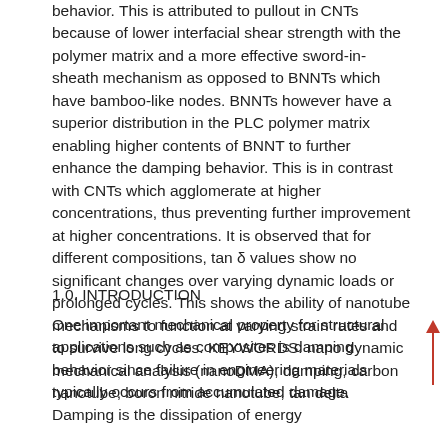behavior. This is attributed to pullout in CNTs because of lower interfacial shear strength with the polymer matrix and a more effective sword-in-sheath mechanism as opposed to BNNTs which have bamboo-like nodes. BNNTs however have a superior distribution in the PLC polymer matrix enabling higher contents of BNNT to further enhance the damping behavior. This is in contrast with CNTs which agglomerate at higher concentrations, thus preventing further improvement at higher concentrations. It is observed that for different compositions, tan δ values show no significant changes over varying dynamic loads or prolonged cycles. This shows the ability of nanotube mechanisms to function at varying strain rates and to survive long cycles. KEYWORDS: nano dynamic mechanical analysis (nanoDMA), damping, carbon nanotube, boron nitride nanotube, tan delta
1.0. INTRODUCTION
One important mechanical property for structural applications such as composites is damping behavior since failure in engineering materials typically occurs from accumulated damage. Damping is the dissipation of energy